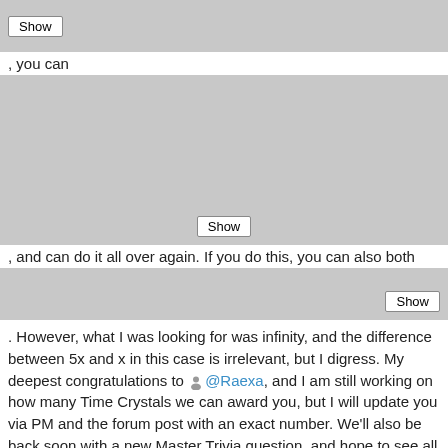[Figure (screenshot): Gray blurred/redacted content bar with Show button]
, you can
[Figure (screenshot): Gray blurred/redacted content area with Show button]
, and can do it all over again. If you do this, you can also both
[Figure (screenshot): Gray blurred/redacted content bar with Show button]
. However, what I was looking for was infinity, and the difference between 5x and x in this case is irrelevant, but I digress. My deepest congratulations to @Raexa, and I am still working on how many Time Crystals we can award you, but I will update you via PM and the forum post with an exact number. We'll also be back soon with a new Master Trivia question, and hope to see all of you again! And once more, congratulations to our newest and current Master Trivia Champion, @Raexa!!!
1 comment